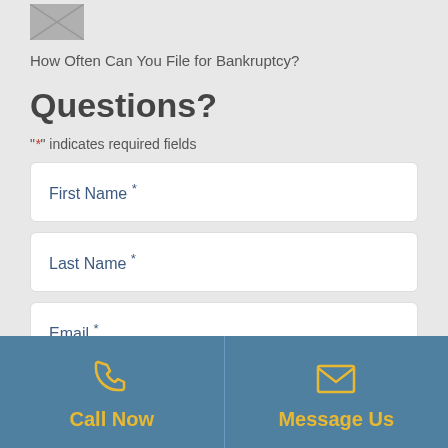[Figure (photo): Small thumbnail image of a person or money-related photo]
How Often Can You File for Bankruptcy?
Questions?
"*" indicates required fields
First Name *
Last Name *
Email *
[Figure (illustration): Phone icon with Call Now label]
[Figure (illustration): Envelope icon with Message Us label]